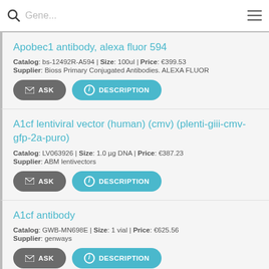Gene... (search bar)
Apobec1 antibody, alexa fluor 594
Catalog: bs-12492R-A594 | Size: 100ul | Price: €399.53
Supplier: Bioss Primary Conjugated Antibodies. ALEXA FLUOR
A1cf lentiviral vector (human) (cmv) (plenti-giii-cmv-gfp-2a-puro)
Catalog: LV063926 | Size: 1.0 µg DNA | Price: €387.23
Supplier: ABM lentivectors
A1cf antibody
Catalog: GWB-MN698E | Size: 1 vial | Price: €625.56
Supplier: genways